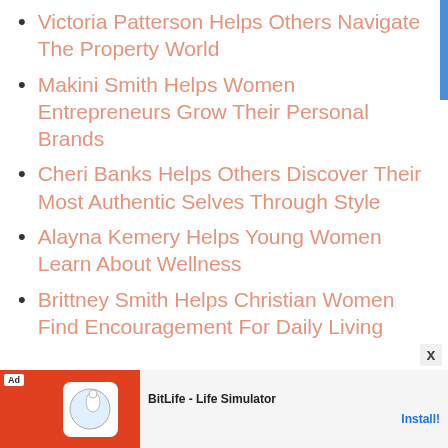Victoria Patterson Helps Others Navigate The Property World
Makini Smith Helps Women Entrepreneurs Grow Their Personal Brands
Cheri Banks Helps Others Discover Their Most Authentic Selves Through Style
Alayna Kemery Helps Young Women Learn About Wellness
Brittney Smith Helps Christian Women Find Encouragement For Daily Living
[Figure (screenshot): Advertisement banner for BitLife - Life Simulator app with Install button]